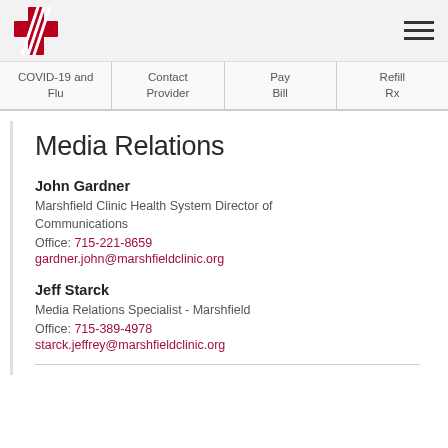[Figure (logo): Marshfield Clinic Health System logo — red cross with stylized lines]
COVID-19 and Flu | Contact Provider | Pay Bill | Refill Rx
Media Relations
John Gardner
Marshfield Clinic Health System Director of Communications
Office: 715-221-8659
gardner.john@marshfieldclinic.org
Jeff Starck
Media Relations Specialist - Marshfield
Office: 715-389-4978
starck.jeffrey@marshfieldclinic.org